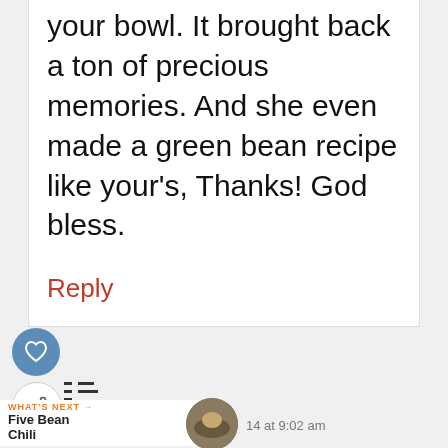your bowl. It brought back a ton of precious memories. And she even made a green bean recipe like your's, Thanks! God bless.
Reply
[Figure (screenshot): Like (heart) button icon - circular blue button with heart symbol]
[Figure (screenshot): Share button icon - circular white button with share symbol]
[Figure (screenshot): More options button with bars/lines icon]
WHAT'S NEXT → Five Bean Chili
14 at 9:02 am
[Figure (screenshot): Advertisement banner: FOSTER ADOPT / dog photo / RESCUE ADVOCATE on dark blue background]